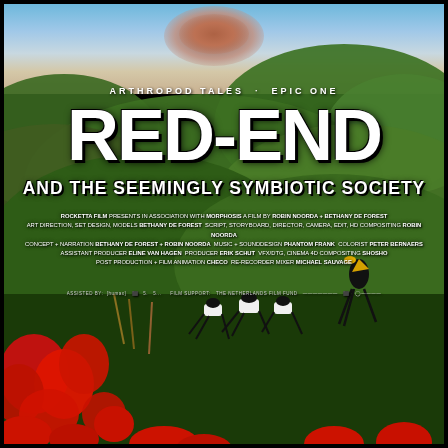[Figure (illustration): Movie poster for 'Red-End and the Seemingly Symbiotic Society', part of Arthropod Tales Epic One. Background shows lush green volcanic hills, a dramatic cloudy sky with volcanic eruption, red raspberry-like berries in foreground, and black insect-like creatures with white body parts (ants?) in the middle distance. Produced by Rocketta Film in association with Morphosis.]
ARTHROPOD TALES · EPIC ONE
RED-END
AND THE SEEMINGLY SYMBIOTIC SOCIETY
ROCKETTA FILM PRESENTS IN ASSOCIATION WITH MORPHOSIS A FILM BY ROBIN NOORDA + BETHANY DE FOREST ART DIRECTION, SET DESIGN, MODELS BETHANY DE FOREST SCRIPT, STORYBOARD, DIRECTOR, CAMERA, EDIT, HD COMPOSITING ROBIN NOORDA CONCEPT + NARRATION BETHANY DE FOREST + ROBIN NOORDA MUSIC + SOUNDDESIGN PHANTOM FRANK COLORIST PETER BERNAERS ASSISTANT PRODUCER ELINE VAN HAGEN PRODUCER ERIK SCHUT VFX/DTG, CINEMA 4D COMPOSITING SHOSHO POST PRODUCTION + FILM ANIMATION CHECO RE-RECORDER MIXER MICHAEL SAUVAGE
ASSISTED BY: [logos] 5. 5... NETH FILM SUPPORT: THE NETHERLANDS FILM FUND